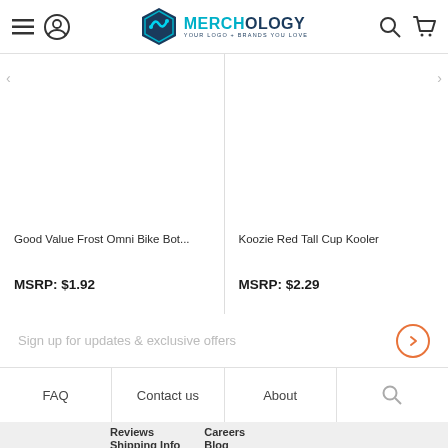Merchology — Your Logo + Brands You Love
Good Value Frost Omni Bike Bot...
MSRP: $1.92
Koozie Red Tall Cup Kooler
MSRP: $2.29
Sign up for updates & exclusive offers
FAQ
Contact us
About
Reviews
Careers
Shipping Info
Blog